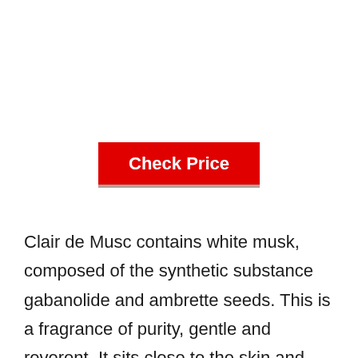[Figure (other): Red 'Check Price' button with shadow]
Clair de Musc contains white musk, composed of the synthetic substance gabanolide and ambrette seeds. This is a fragrance of purity, gentle and reverent. It sits close to the skin and becomes exquisitely deep, it can be heard on the skin for more than a day and is unobtrusive.